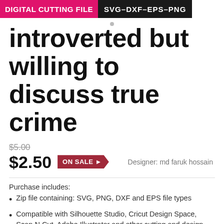DIGITAL CUTTING FILE  SVG-DXF-EPS-PNG
introverted but willing to discuss true crime
$5.00  $2.50  ON SALE  Designer: md faruk hossain
Purchase includes:
Zip file containing: SVG, PNG, DXF and EPS file types
Compatible with Silhouette Studio, Cricut Design Space, Scan N Cut, Adobe Illustrator and other cutting and design programs